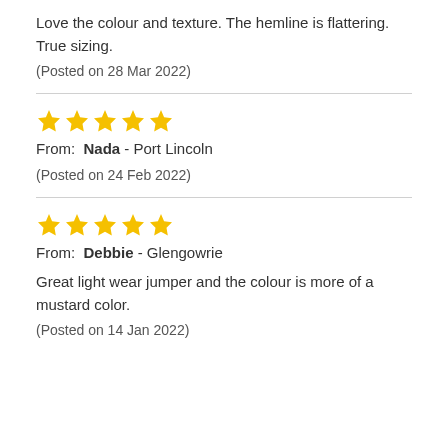Love the colour and texture. The hemline is flattering. True sizing.
(Posted on 28 Mar 2022)
[Figure (other): 5 gold stars rating]
From: Nada - Port Lincoln
(Posted on 24 Feb 2022)
[Figure (other): 5 gold stars rating]
From: Debbie - Glengowrie
Great light wear jumper and the colour is more of a mustard color.
(Posted on 14 Jan 2022)